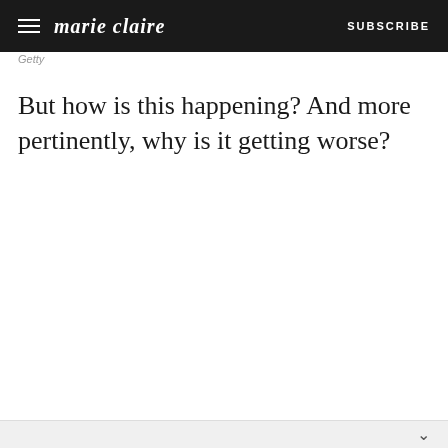marie claire | SUBSCRIBE
Getty
But how is this happening? And more pertinently, why is it getting worse?